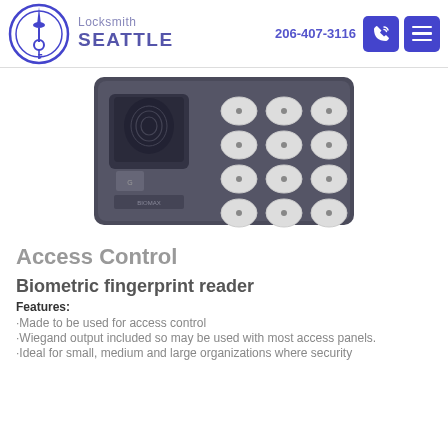Locksmith SEATTLE  206-407-3116
[Figure (photo): Biometric fingerprint reader device — a dark gray electronic keypad unit with a fingerprint sensor on the left and a 3x4 grid of oval keypad buttons on the right]
Access Control
Biometric fingerprint reader
Features:
·Made to be used for access control
·Wiegand output included so may be used with most access panels.
·Ideal for small, medium and large organizations where security